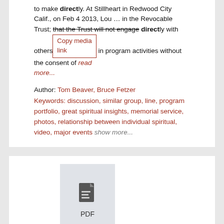to make directly. At Stillheart in Redwood City Calif., on Feb 4 2013, Lou … in the Revocable Trust; that the Trust will not engage directly with others in program activities without the consent of read more...
Author: Tom Beaver, Bruce Fetzer
Keywords: discussion, similar group, line, program portfolio, great spiritual insights, memorial service, photos, relationship between individual spiritual, video, major events show more...
[Figure (other): PDF document icon with text 'PDF' below it, inside a light gray box]
MT... April 29, 2020